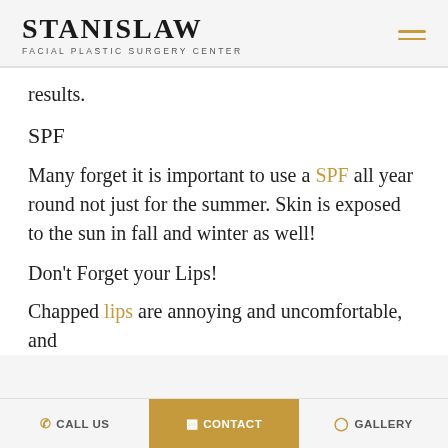STANISLAW FACIAL PLASTIC SURGERY CENTER
results.
SPF
Many forget it is important to use a SPF all year round not just for the summer.  Skin is exposed to the sun in fall and winter as well!
Don't Forget your Lips!
Chapped lips are annoying and uncomfortable, and
CALL US   CONTACT   GALLERY